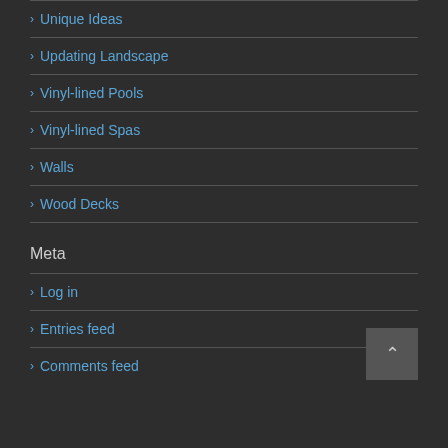Unique Ideas
Updating Landscape
Vinyl-lined Pools
Vinyl-lined Spas
Walls
Wood Decks
Meta
Log in
Entries feed
Comments feed